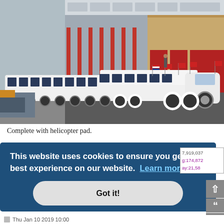[Figure (photo): A very long white stretch limousine parked in a large industrial or warehouse area. The limo has many wheels and American flags. A person stands near the building in the background.]
Complete with helicopter pad.
This website uses cookies to ensure you get the best experience on our website. Learn more
Got it!
7,919,037
g:174,872
ay:21,58